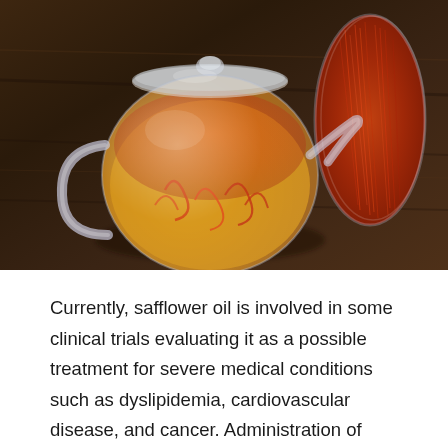[Figure (photo): A glass teapot filled with golden-yellow liquid and bright red-orange saffron threads steeping inside, with a lid on top. Next to it is a bundle of dried saffron threads wrapped in a cylinder. The items rest on a dark wooden surface.]
Currently, safflower oil is involved in some clinical trials evaluating it as a possible treatment for severe medical conditions such as dyslipidemia, cardiovascular disease, and cancer. Administration of...